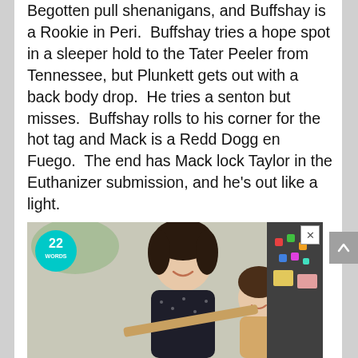Begotten pull shenanigans, and Buffshay is a Rookie in Peri.  Buffshay tries a hope spot in a sleeper hold to the Tater Peeler from Tennessee, but Plunkett gets out with a back body drop.  He tries a senton but misses.  Buffshay rolls to his corner for the hot tag and Mack is a Redd Dogg en Fuego.  The end has Mack lock Taylor in the Euthanizer submission, and he's out like a light.
[Figure (photo): Advertisement banner showing a woman and child cooking together, with a '22 Words' teal logo badge in the upper left and an X close button in the upper right.]